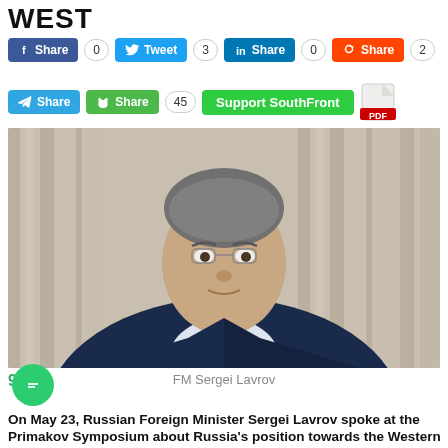WEST
Share 0   Tweet 3   Share 0   Share 2
Share   Share 45   Support SouthFront   PDF
[Figure (photo): FM Sergei Lavrov — Russian Foreign Minister in dark suit and tie, looking upward, with curtained background]
FM Sergei Lavrov
90
On May 23, Russian Foreign Minister Sergei Lavrov spoke at the Primakov Symposium about Russia's position towards the Western